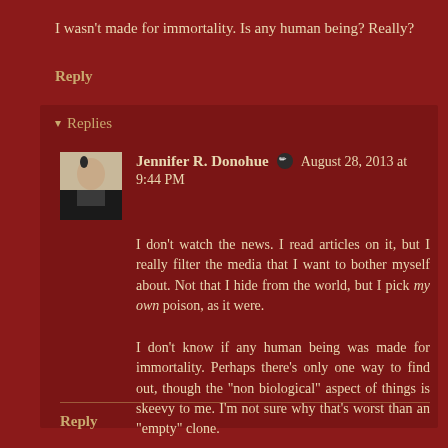I wasn't made for immortality. Is any human being? Really?
Reply
Replies
Jennifer R. Donohue  August 28, 2013 at 9:44 PM
I don't watch the news. I read articles on it, but I really filter the media that I want to bother myself about. Not that I hide from the world, but I pick my own poison, as it were.
I don't know if any human being was made for immortality. Perhaps there's only one way to find out, though the "non biological" aspect of things is skeevy to me. I'm not sure why that's worst than an "empty" clone.
Reply